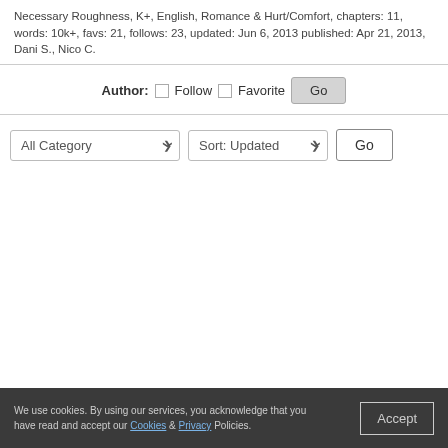Necessary Roughness, K+, English, Romance & Hurt/Comfort, chapters: 11, words: 10k+, favs: 21, follows: 23, updated: Jun 6, 2013 published: Apr 21, 2013, Dani S., Nico C.
Author: Follow Favorite Go
All Category Sort: Updated Go
We use cookies. By using our services, you acknowledge that you have read and accept our Cookies & Privacy Policies. Accept